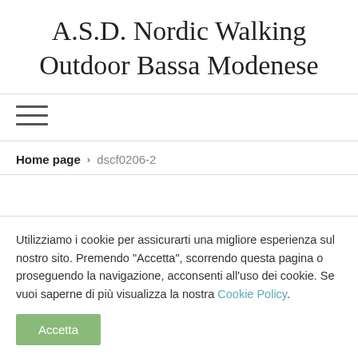A.S.D. Nordic Walking Outdoor Bassa Modenese
[Figure (other): Hamburger menu icon with three horizontal lines]
Home page › dscf0206-2
Utilizziamo i cookie per assicurarti una migliore esperienza sul nostro sito. Premendo "Accetta", scorrendo questa pagina o proseguendo la navigazione, acconsenti all'uso dei cookie. Se vuoi saperne di più visualizza la nostra Cookie Policy.
Accetta